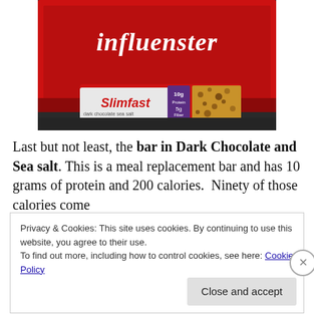[Figure (photo): A red Influenster box opened to reveal a SlimFast Dark Chocolate and Sea Salt meal replacement bar inside, placed on a dark granite surface.]
Last but not least, the bar in Dark Chocolate and Sea salt. This is a meal replacement bar and has 10 grams of protein and 200 calories.  Ninety of those calories come
Privacy & Cookies: This site uses cookies. By continuing to use this website, you agree to their use.
To find out more, including how to control cookies, see here: Cookie Policy
Close and accept